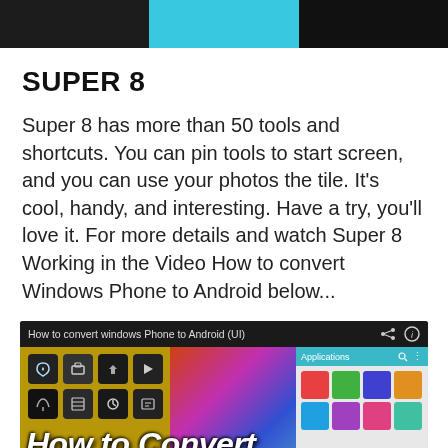[Figure (screenshot): Top strip showing three panels: dark left, bright blue center, dark right — appears to be a partial screenshot of a UI]
SUPER 8
Super 8 has more than 50 tools and shortcuts. You can pin tools to start screen, and you can use your photos the tile. It's cool, handy, and interesting. Have a try, you'll love it. For more details and watch Super 8 Working in the Video How to convert Windows Phone to Android below...
[Figure (screenshot): Video thumbnail showing 'How to convert windows Phone to Android (UI)' with tiled app icons on yellow/gold background, colorful abstract center panel, and app list on right. Large white bold italic text overlay reads 'How to Convert Wind[ows Ph]one...']